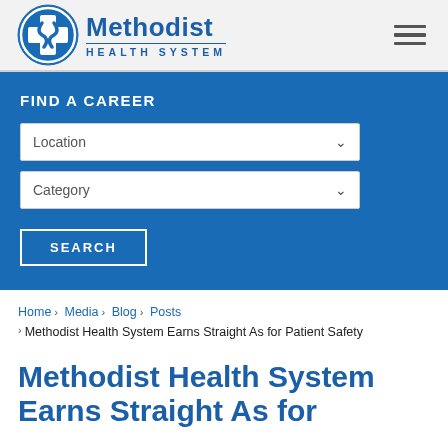[Figure (logo): Methodist Health System logo with blue circle cross icon and text]
FIND A CAREER
Location (dropdown)
Category (dropdown)
SEARCH
Home > Media > Blog > Posts > Methodist Health System Earns Straight As for Patient Safety
Methodist Health System Earns Straight As for